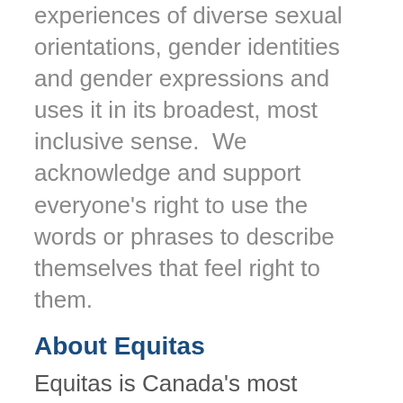experiences of diverse sexual orientations, gender identities and gender expressions and uses it in its broadest, most inclusive sense.  We acknowledge and support everyone's right to use the words or phrases to describe themselves that feel right to them.
About Equitas
Equitas is Canada's most recognized and active human rights education organization. We work for the advancement of equality, social justice and respect for human dignity through